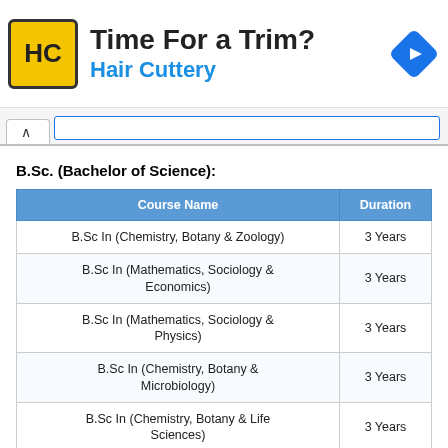[Figure (other): Advertisement banner for Hair Cuttery with logo, text 'Time For a Trim? Hair Cuttery', and a blue navigation icon]
B.Sc. (Bachelor of Science):
| Course Name | Duration |
| --- | --- |
| B.Sc In (Chemistry, Botany & Zoology) | 3 Years |
| B.Sc In (Mathematics, Sociology & Economics) | 3 Years |
| B.Sc In (Mathematics, Sociology & Physics) | 3 Years |
| B.Sc In (Chemistry, Botany & Microbiology) | 3 Years |
| B.Sc In (Chemistry, Botany & Life Sciences) | 3 Years |
| B.Sc In (Chemistry, Zoology & Life Sciences) | 3 Years |